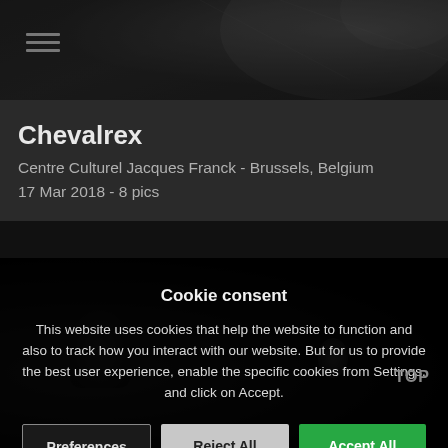[Figure (photo): Dark black and white photo at top of page, partially visible, showing dark indistinct forms]
Chevalrex
Centre Culturel Jacques Franck - Brussels, Belgium
17 Mar 2018 - 8 pics
[Figure (photo): Dark black and white photo showing two figures on a dark stage, partially obscured by cookie consent overlay]
Cookie consent
This website uses cookies that help the website to function and also to track how you interact with our website. But for us to provide the best user experience, enable the specific cookies from Settings, and click on Accept.
Preferences
Reject All
Accept All